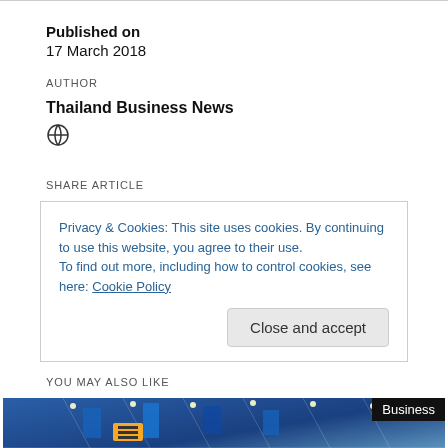Published on
17 March 2018
AUTHOR
Thailand Business News
SHARE ARTICLE
Privacy & Cookies: This site uses cookies. By continuing to use this website, you agree to their use.
To find out more, including how to control cookies, see here: Cookie Policy
YOU MAY ALSO LIKE
[Figure (photo): Airport interior photo with blue decorations and 'Business' tag overlay]